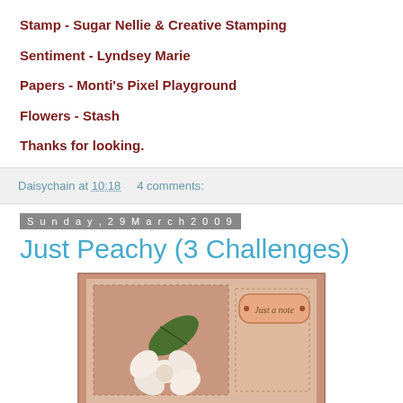Stamp - Sugar Nellie & Creative Stamping
Sentiment - Lyndsey Marie
Papers - Monti's Pixel Playground
Flowers - Stash
Thanks for looking.
Daisychain at 10:18    4 comments:
Sunday, 29 March 2009
Just Peachy (3 Challenges)
[Figure (photo): A handmade greeting card with peach/pink tones, featuring a white flower with green leaf and a 'Just a note' tag label]